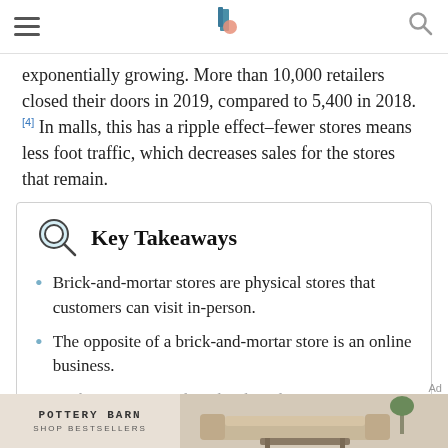[hamburger menu] [logo] [search icon]
exponentially growing. More than 10,000 retailers closed their doors in 2019, compared to 5,400 in 2018. [4] In malls, this has a ripple effect–fewer stores means less foot traffic, which decreases sales for the stores that remain.
Key Takeaways
Brick-and-mortar stores are physical stores that customers can visit in-person.
The opposite of a brick-and-mortar store is an online business.
Many businesses combine brick-and-mortar...
[Figure (advertisement): Pottery Barn advertisement banner with logo and 'SHOP BESTSELLERS' text alongside a furniture image]